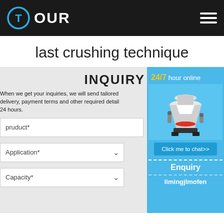[Figure (logo): Tour website logo: circular T icon in blue with white background, text OUR in white bold on dark header]
last crushing technique
INQUIRY
When we get your inquiries, we will send tailored delivery, payment terms and other required detail 24 hours.
pruduct*
Application*
Capacity*
[Figure (photo): Cone crusher machine photo with 24/7 hour online label, blue background, chat button saying Click me to chat>>]
24/7 hour online
Click me to chat>>
Enquiry
limingjlmofen